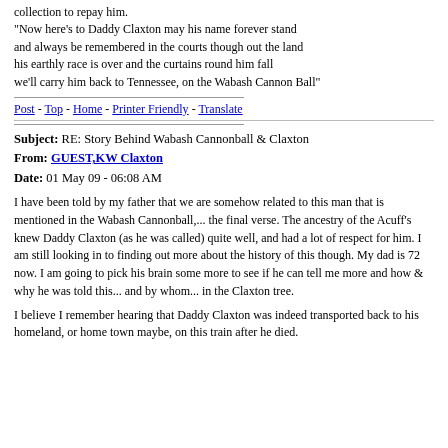collection to repay him.
"Now here's to Daddy Claxton may his name forever stand and always be remembered in the courts though out the land his earthly race is over and the curtains round him fall we'll carry him back to Tennessee, on the Wabash Cannon Ball"
Post - Top - Home - Printer Friendly - Translate
Subject: RE: Story Behind Wabash Cannonball & Claxton
From: GUEST,KW Claxton
Date: 01 May 09 - 06:08 AM
I have been told by my father that we are somehow related to this man that is mentioned in the Wabash Cannonball,... the final verse. The ancestry of the Acuff's knew Daddy Claxton (as he was called) quite well, and had a lot of respect for him. I am still looking in to finding out more about the history of this though. My dad is 72 now. I am going to pick his brain some more to see if he can tell me more and how & why he was told this... and by whom... in the Claxton tree.
I believe I remember hearing that Daddy Claxton was indeed transported back to his homeland, or home town maybe, on this train after he died.